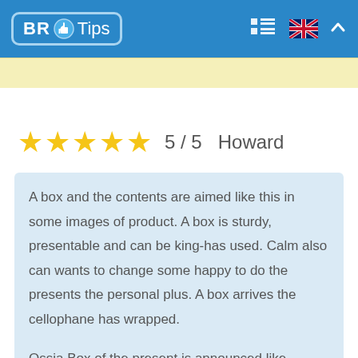BR Tips
[Figure (screenshot): Yellow advertisement banner strip]
★★★★★ 5 / 5  Howard
A box and the contents are aimed like this in some images of product. A box is sturdy, presentable and can be king-has used. Calm also can wants to change some happy to do the presents the personal plus. A box arrives the cellophane has wrapped.

Ossia Box of the present is announced like soyassive Selection of Some bars of better